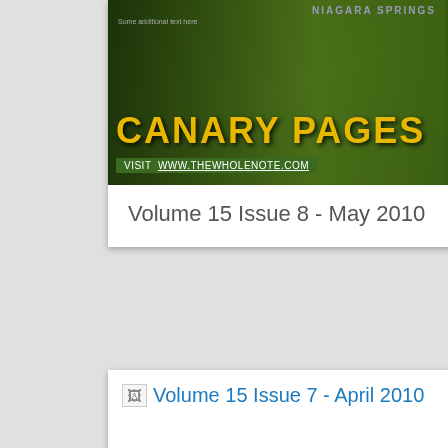[Figure (photo): Magazine cover showing 'Canary Pages' with people in dark suits against a green/dark background with yellow title text and URL www.thewholenote.com]
Volume 15 Issue 8 - May 2010
Volume 15 Issue 7 - April 2010